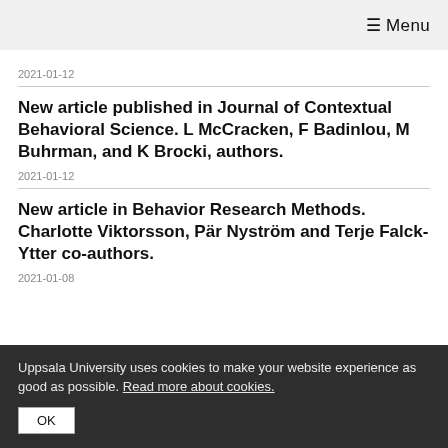≡ Menu
2021-01-12
New article published in Journal of Contextual Behavioral Science. L McCracken, F Badinlou, M Buhrman, and K Brocki, authors.
2021-01-12
New article in Behavior Research Methods. Charlotte Viktorsson, Pär Nyström and Terje Falck-Ytter co-authors.
2021-01-08
Uppsala University uses cookies to make your website experience as good as possible. Read more about cookies.